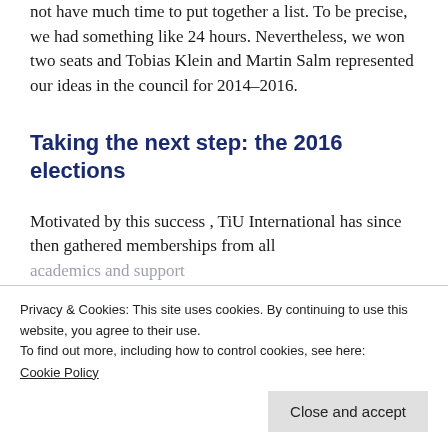not have much time to put together a list. To be precise, we had something like 24 hours. Nevertheless, we won two seats and Tobias Klein and Martin Salm represented our ideas in the council for 2014–2016.
Taking the next step: the 2016 elections
Motivated by this success , TiU International has since then gathered memberships from all
academics and support
there and example the organisation. This is reflected in
our regulations that the actions of our board
Privacy & Cookies: This site uses cookies. By continuing to use this website, you agree to their use.
To find out more, including how to control cookies, see here:
Cookie Policy
Close and accept